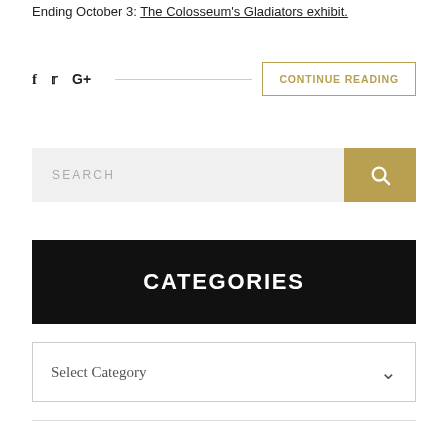Ending October 3: The Colosseum's Gladiators exhibit.
f  t  G+  CONTINUE READING
[Figure (screenshot): Search bar with text input area labeled SEARCH and a gold search button with magnifying glass icon]
CATEGORIES
Select Category